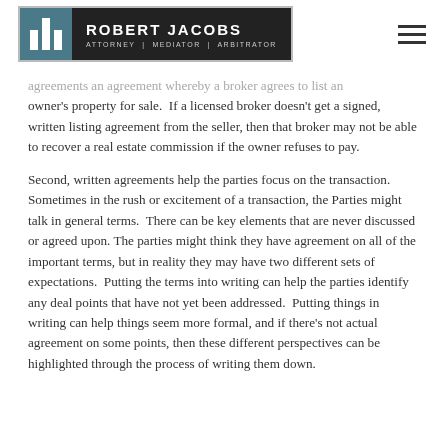Robert Jacobs — Attorney | Mediator | Arbitrator
agreements an agreement whereby a broker agrees to list an owner's property for sale. If a licensed broker doesn't get a signed, written listing agreement from the seller, then that broker may not be able to recover a real estate commission if the owner refuses to pay.
Second, written agreements help the parties focus on the transaction. Sometimes in the rush or excitement of a transaction, the Parties might talk in general terms. There can be key elements that are never discussed or agreed upon. The parties might think they have agreement on all of the important terms, but in reality they may have two different sets of expectations. Putting the terms into writing can help the parties identify any deal points that have not yet been addressed. Putting things in writing can help things seem more formal, and if there's not actual agreement on some points, then these different perspectives can be highlighted through the process of writing them down.